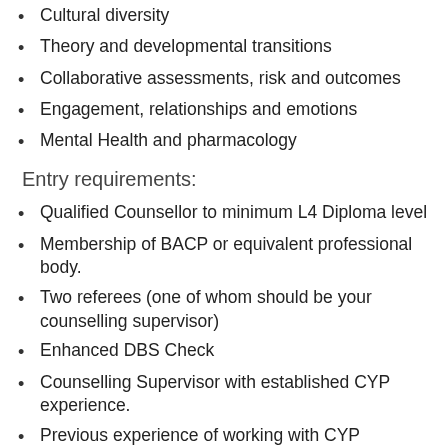Cultural diversity
Theory and developmental transitions
Collaborative assessments, risk and outcomes
Engagement, relationships and emotions
Mental Health and pharmacology
Entry requirements:
Qualified Counsellor to minimum L4 Diploma level
Membership of BACP or equivalent professional body.
Two referees (one of whom should be your counselling supervisor)
Enhanced DBS Check
Counselling Supervisor with established CYP experience.
Previous experience of working with CYP desirable.
Currently in practice as counsellors/psychotherapists.